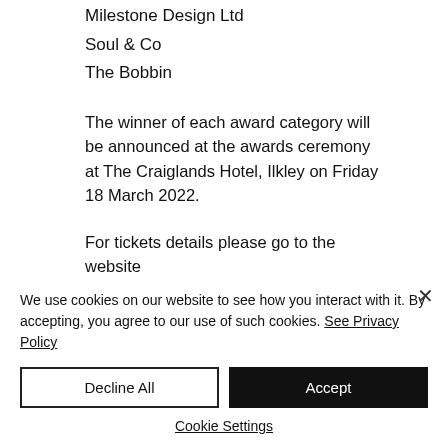Milestone Design Ltd
Soul & Co
The Bobbin
The winner of each award category will be announced at the awards ceremony at The Craiglands Hotel, Ilkley on Friday 18 March 2022.
For tickets details please go to the website
[blurred URL text]
We use cookies on our website to see how you interact with it. By accepting, you agree to our use of such cookies. See Privacy Policy
Decline All
Accept
Cookie Settings